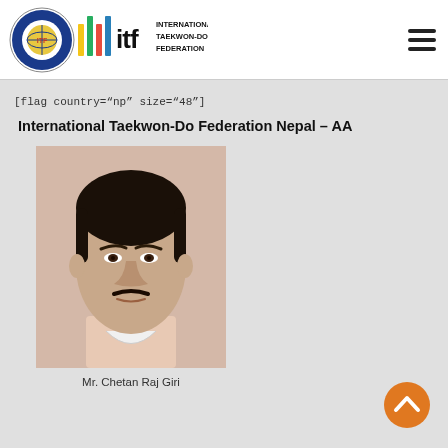[Figure (logo): International Taekwon-Do Federation logo with circular emblem and ITF wordmark]
[flag country="np" size="48"]
International Taekwon-Do Federation Nepal – AA
[Figure (photo): Portrait photo of Mr. Chetan Raj Giri against a light peach background]
Mr. Chetan Raj Giri